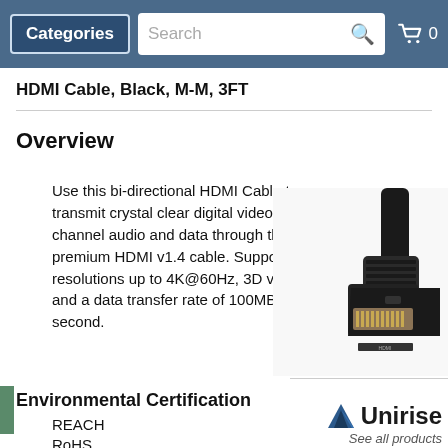Categories | Search | 0
HDMI Cable, Black, M-M, 3FT
Overview
Use this bi-directional HDMI Cable to transmit crystal clear digital video, multi-channel audio and data through this premium HDMI v1.4 cable. Supporting resolutions up to 4K@60Hz, 3D video and a data transfer rate of 100MB per second.
[Figure (photo): Close-up photo of a black HDMI cable connector end showing gold-plated pins and ribbed connector housing]
Environmental Certification
REACH
RoHS
[Figure (logo): Unirise logo with mountain/triangle icon and text 'Unirise' followed by 'See all products']